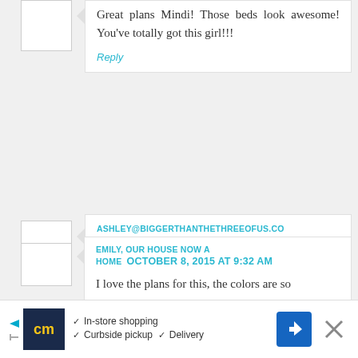Great plans Mindi! Those beds look awesome! You've totally got this girl!!!
Reply
ASHLEY@BIGGERTHANTHETHREEOFUS.COM OCTOBER 8, 2015 AT 7:41 AM
Those plans look amazing! Can't wait to follow along on this crazy (awesome) journey.
Reply
EMILY, OUR HOUSE NOW A HOME  OCTOBER 8, 2015 AT 9:32 AM
I love the plans for this, the colors are so
[Figure (infographic): Advertisement banner with cm logo, In-store shopping, Curbside pickup, Delivery options, blue navigation icon, and close button]